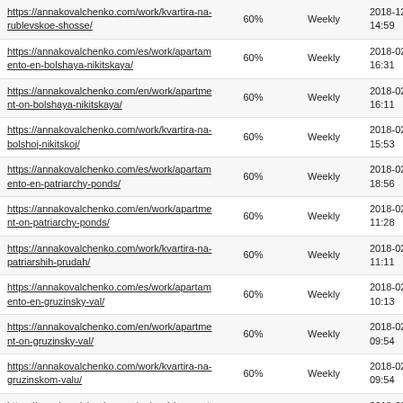| URL | Priority | Change Frequency | Last Modified |
| --- | --- | --- | --- |
| https://annakovalchenko.com/work/kvartira-na-rublevskoe-shosse/ | 60% | Weekly | 2018-12-... 14:59 |
| https://annakovalchenko.com/es/work/apartamento-en-bolshaya-nikitskaya/ | 60% | Weekly | 2018-02-... 16:31 |
| https://annakovalchenko.com/en/work/apartment-on-bolshaya-nikitskaya/ | 60% | Weekly | 2018-02-... 16:11 |
| https://annakovalchenko.com/work/kvartira-na-bolshoj-nikitskoj/ | 60% | Weekly | 2018-02-... 15:53 |
| https://annakovalchenko.com/es/work/apartamento-en-patriarchy-ponds/ | 60% | Weekly | 2018-02-... 18:56 |
| https://annakovalchenko.com/en/work/apartment-on-patriarchy-ponds/ | 60% | Weekly | 2018-02-... 11:28 |
| https://annakovalchenko.com/work/kvartira-na-patriarshih-prudah/ | 60% | Weekly | 2018-02-... 11:11 |
| https://annakovalchenko.com/es/work/apartamento-en-gruzinsky-val/ | 60% | Weekly | 2018-02-... 10:13 |
| https://annakovalchenko.com/en/work/apartment-on-gruzinsky-val/ | 60% | Weekly | 2018-02-... 09:54 |
| https://annakovalchenko.com/work/kvartira-na-gruzinskom-valu/ | 60% | Weekly | 2018-02-... 09:54 |
| https://annakovalchenko.com/es/work/concepto-del-restaurante-en-marbella/ | 60% | Weekly | 2018-03-... 09:29 |
| https://annakovalchenko.com/en/work/restaurant-concept-in-marbella/ | 60% | Weekly | 2018-03-... 09:28 |
| https://annakovalchenko.com/work/kontsentsiya-... | 60% | Weekly | 2018-03-... |